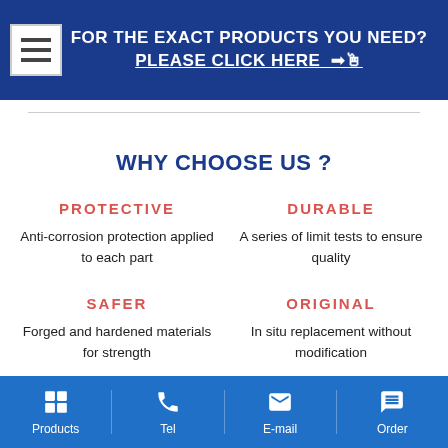[Figure (screenshot): Dark blue banner with hamburger menu icon on left and white bold text reading 'FOR THE EXACT PRODUCTS YOU NEED? PLEASE CLICK HERE' with underline and cursor arrow icon]
WHY CHOOSE US ?
PROTECTIVE
Anti-corrosion protection applied to each part
DURABLE
A series of limit tests to ensure quality
SAFER
Forged and hardened materials for strength
ORIGINAL
In situ replacement without modification
Products | Tel | E-mail | Order